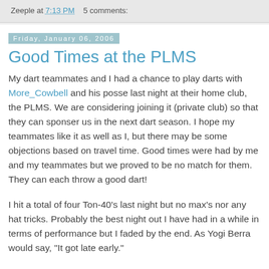Zeeple at 7:13 PM   5 comments:
Friday, January 06, 2006
Good Times at the PLMS
My dart teammates and I had a chance to play darts with More_Cowbell and his posse last night at their home club, the PLMS. We are considering joining it (private club) so that they can sponser us in the next dart season. I hope my teammates like it as well as I, but there may be some objections based on travel time. Good times were had by me and my teammates but we proved to be no match for them. They can each throw a good dart!
I hit a total of four Ton-40's last night but no max's nor any hat tricks. Probably the best night out I have had in a while in terms of performance but I faded by the end. As Yogi Berra would say, "It got late early."
Stick won a cricket tie-breaker against me after opening with